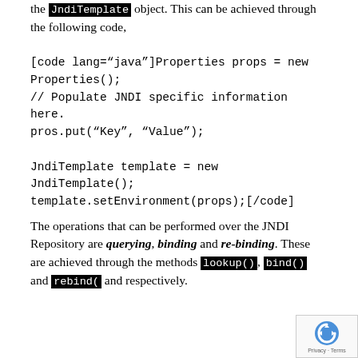the JndiTemplate object. This can be achieved through the following code,
[code lang="java"]Properties props = new Properties();
// Populate JNDI specific information here.
pros.put("Key", "Value");

JndiTemplate template = new JndiTemplate();
template.setEnvironment(props);[/code]
The operations that can be performed over the JNDI Repository are querying, binding and re-binding. These are achieved through the methods lookup(), bind() and rebind() respectively.